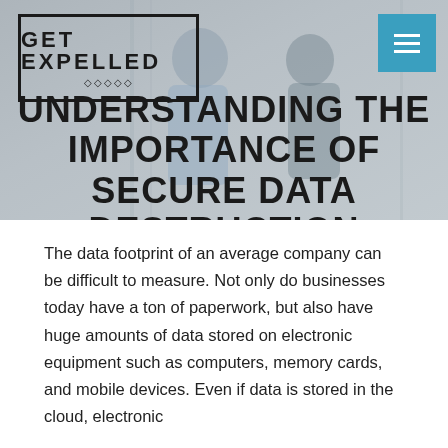[Figure (photo): Background photo of two people in an office environment, overlaid with the Get Expelled logo and hero title text]
GET EXPELLED
UNDERSTANDING THE IMPORTANCE OF SECURE DATA DESTRUCTION
The data footprint of an average company can be difficult to measure. Not only do businesses today have a ton of paperwork, but also have huge amounts of data stored on electronic equipment such as computers, memory cards, and mobile devices. Even if data is stored in the cloud, electronic